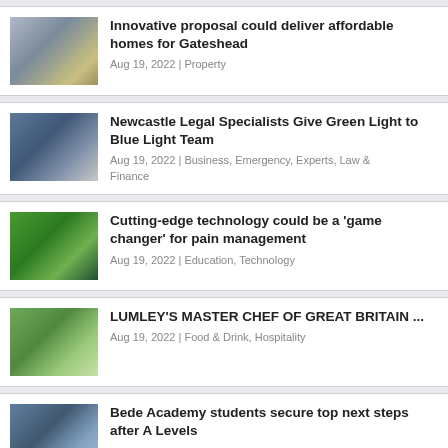Innovative proposal could deliver affordable homes for Gateshead | Aug 19, 2022 | Property
Newcastle Legal Specialists Give Green Light to Blue Light Team | Aug 19, 2022 | Business, Emergency, Experts, Law & Finance
Cutting-edge technology could be a 'game changer' for pain management | Aug 19, 2022 | Education, Technology
LUMLEY'S MASTER CHEF OF GREAT BRITAIN ... | Aug 19, 2022 | Food & Drink, Hospitality
Bede Academy students secure top next steps after A Levels | Aug 19, 2022 | Education, Kids